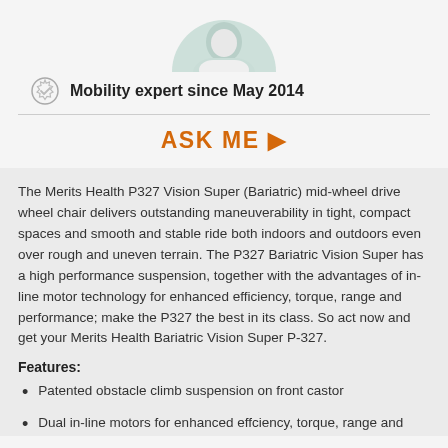[Figure (photo): Circular avatar photo of a mobility expert, cropped at top, showing a person in a white shirt against a light background]
Mobility expert since May 2014
ASK ME ▶
The Merits Health P327 Vision Super (Bariatric) mid-wheel drive wheel chair delivers outstanding maneuverability in tight, compact spaces and smooth and stable ride both indoors and outdoors even over rough and uneven terrain. The P327 Bariatric Vision Super has a high performance suspension, together with the advantages of in-line motor technology for enhanced efficiency, torque, range and performance; make the P327 the best in its class. So act now and get your Merits Health Bariatric Vision Super P-327.
Features:
Patented obstacle climb suspension on front castor
Dual in-line motors for enhanced effciency, torque, range and